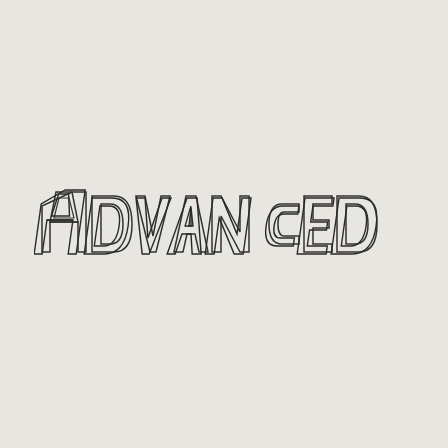[Figure (logo): ADVANCED company logo with outline/hollow lettering style in dark gray on light gray background. Features a stylized 'A' symbol on the left followed by the text 'ADVANCED' in bold italic outline letters.]